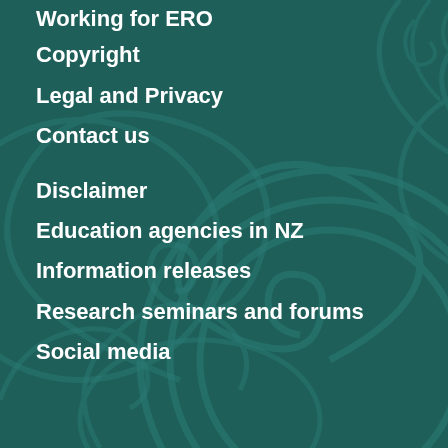Working for ERO
Copyright
Legal and Privacy
Contact us
Disclaimer
Education agencies in NZ
Information releases
Research seminars and forums
Social media